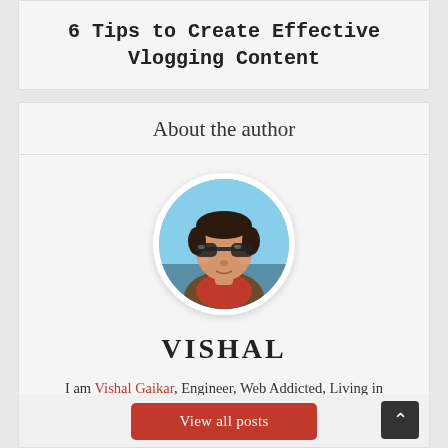6 Tips to Create Effective Vlogging Content
About the author
[Figure (photo): Circular portrait photo of Vishal Gaikar wearing sunglasses, outdoors near water]
VISHAL
I am Vishal Gaikar, Engineer, Web Addicted, Living in Maharastra, India. Email Me @ vishal@techbucket.org
View all posts